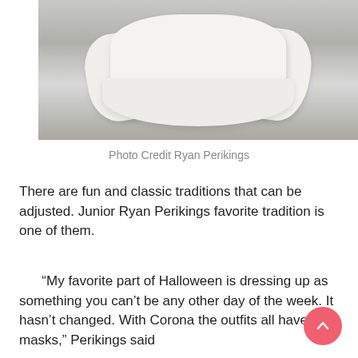[Figure (photo): Photo of white fabric garment (appears to be a skirt or clothing item) laid flat on a gray surface, photographed from above]
Photo Credit Ryan Perikings
There are fun and classic traditions that can be adjusted. Junior Ryan Perikings favorite tradition is one of them.
“My favorite part of Halloween is dressing up as something you can’t be any other day of the week. It hasn’t changed. With Corona the outfits all have masks,” Perikings said